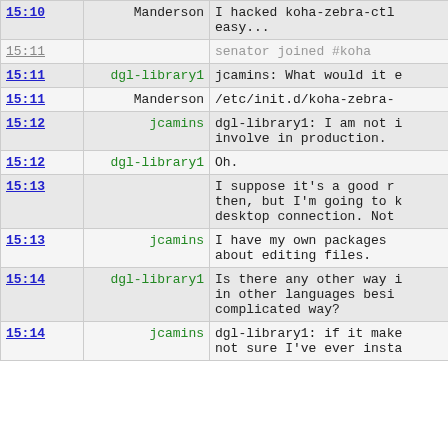| time | user | message |
| --- | --- | --- |
| 15:10 | Manderson | I hacked koha-zebra-ctl easy... |
| 15:11 |  | senator joined #koha |
| 15:11 | dgl-library1 | jcamins: What would it e |
| 15:11 | Manderson | /etc/init.d/koha-zebra- |
| 15:12 | jcamins | dgl-library1: I am not i involve in production. |
| 15:12 | dgl-library1 | Oh. |
| 15:13 |  | I suppose it's a good r then, but I'm going to k desktop connection. Not |
| 15:13 | jcamins | I have my own packages about editing files. |
| 15:14 | dgl-library1 | Is there any other way i in other languages besi complicated way? |
| 15:14 | jcamins | dgl-library1: if it make not sure I've ever insta |